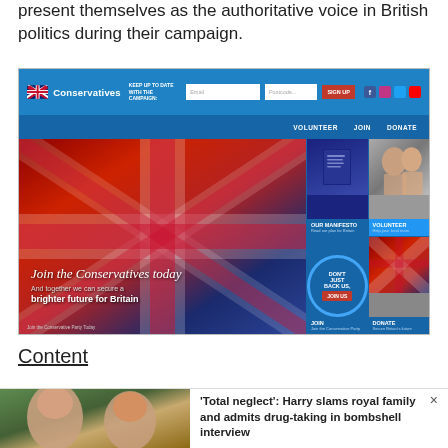present themselves as the authoritative voice in British politics during their campaign.
[Figure (screenshot): Screenshot of the Conservative Party website homepage showing navigation bar with logo, email/postcode sign-up fields, SIGN UP button, social media icons, secondary nav with VOLUNTEER JOIN DONATE links, and main content area with a Union Jack flag hero image saying 'Join the Conservatives today / And together we can secure a brighter future for Britain', plus four tiles: OUR MANIFESTO, VOLUNTEER, JOIN (Don't just back us, join us), and DONATE.]
Content
'Total neglect': Harry slams royal family and admits drug-taking in bombshell interview